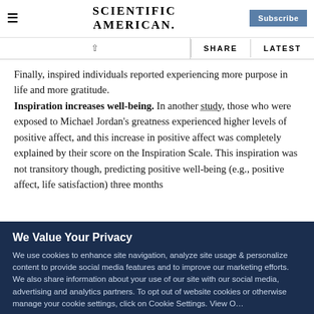Scientific American — Subscribe
SHARE   LATEST
Finally, inspired individuals reported experiencing more purpose in life and more gratitude. Inspiration increases well-being. In another study, those who were exposed to Michael Jordan's greatness experienced higher levels of positive affect, and this increase in positive affect was completely explained by their score on the Inspiration Scale. This inspiration was not transitory though, predicting positive well-being (e.g., positive affect, life satisfaction) three months
We Value Your Privacy
We use cookies to enhance site navigation, analyze site usage & personalize content to provide social media features and to improve our marketing efforts. We also share information about your use of our site with our social media, advertising and analytics partners. To opt out of website cookies or otherwise manage your cookie settings, click on Cookie Settings. View O…